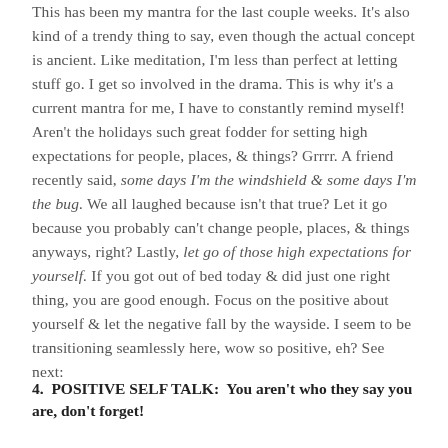This has been my mantra for the last couple weeks. It's also kind of a trendy thing to say, even though the actual concept is ancient. Like meditation, I'm less than perfect at letting stuff go. I get so involved in the drama. This is why it's a current mantra for me, I have to constantly remind myself! Aren't the holidays such great fodder for setting high expectations for people, places, & things? Grrrr. A friend recently said, some days I'm the windshield & some days I'm the bug. We all laughed because isn't that true? Let it go because you probably can't change people, places, & things anyways, right? Lastly, let go of those high expectations for yourself. If you got out of bed today & did just one right thing, you are good enough. Focus on the positive about yourself & let the negative fall by the wayside. I seem to be transitioning seamlessly here, wow so positive, eh? See next:
4. POSITIVE SELF TALK: You aren't who they say you are, don't forget!